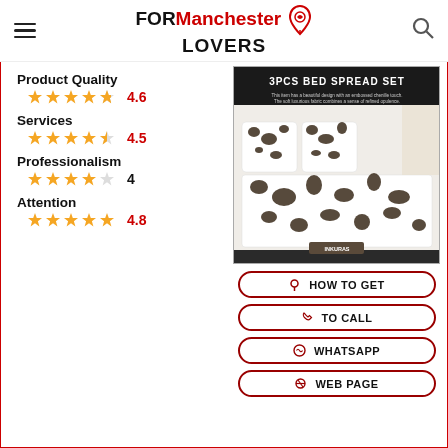FOR Manchester LOVERS
Product Quality  ★★★★☆  4.6
Services  ★★★★☆  4.5
Professionalism  ★★★★☆  4
Attention  ★★★★★  4.8
[Figure (photo): 3PCS BED SPREAD SET product packaging showing a floral/spotted black and white bedspread set on a bed]
HOW TO GET
TO CALL
WHATSAPP
WEB PAGE